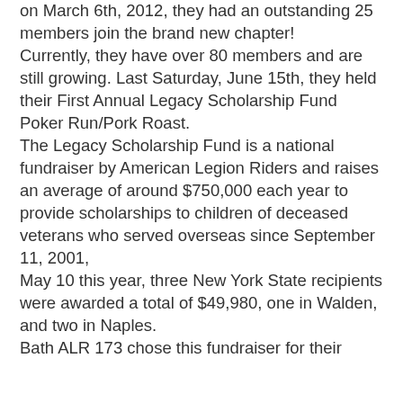on March 6th, 2012, they had an outstanding 25 members join the brand new chapter! Currently, they have over 80 members and are still growing. Last Saturday, June 15th, they held their First Annual Legacy Scholarship Fund Poker Run/Pork Roast. The Legacy Scholarship Fund is a national fundraiser by American Legion Riders and raises an average of around $750,000 each year to provide scholarships to children of deceased veterans who served overseas since September 11, 2001, May 10 this year, three New York State recipients were awarded a total of $49,980, one in Walden, and two in Naples. Bath ALR 173 chose this fundraiser for their